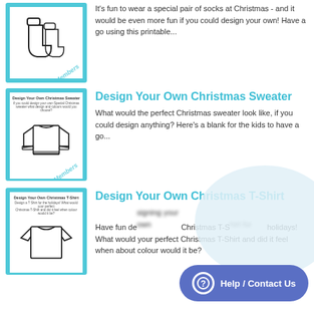[Figure (illustration): Thumbnail of Christmas socks printable activity with Members badge]
It's fun to wear a special pair of socks at Christmas - and it would be even more fun if you could design your own! Have a go using this printable...
[Figure (illustration): Thumbnail of Design Your Own Christmas Sweater printable with Members badge]
Design Your Own Christmas Sweater
What would the perfect Christmas sweater look like, if you could design anything? Here's a blank for the kids to have a go...
[Figure (illustration): Thumbnail of Design Your Own Christmas T-Shirt printable]
Design Your Own Christmas T-Shirt
Have fun designing your own Christmas T-Shirt for the holidays! What would your perfect Christmas T-Shirt and did it feel when about colour would it be?